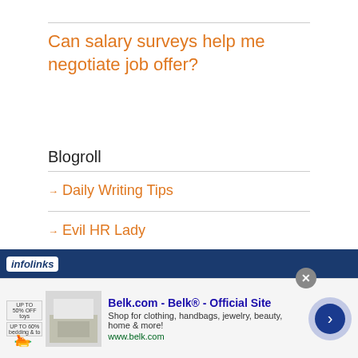Can salary surveys help me negotiate job offer?
Blogroll
Daily Writing Tips
Evil HR Lady
Mark Carey's Law Blog
[Figure (screenshot): Advertisement banner: infolinks logo on dark blue bar, Belk.com ad with logo, product image, title 'Belk.com - Belk® - Official Site', description 'Shop for clothing, handbags, jewelry, beauty, home & more!', url 'www.belk.com', close button, and navigation arrow.]
Copyright © 2022 Nick Corcodilos. All